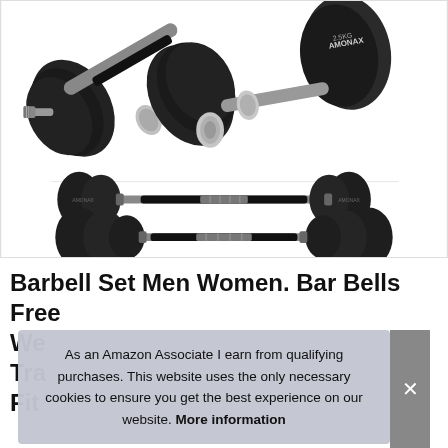[Figure (photo): Product photo of adjustable barbell/dumbbell weight set showing black iron plates on bars. Top portion shows close-up of two dumbbells with weight plates, middle and bottom rows show two full-length barbells with plates on each end.]
Barbell Set Men Women. Bar Bells Free We... Tra... Fit...
As an Amazon Associate I earn from qualifying purchases. This website uses the only necessary cookies to ensure you get the best experience on our website. More information